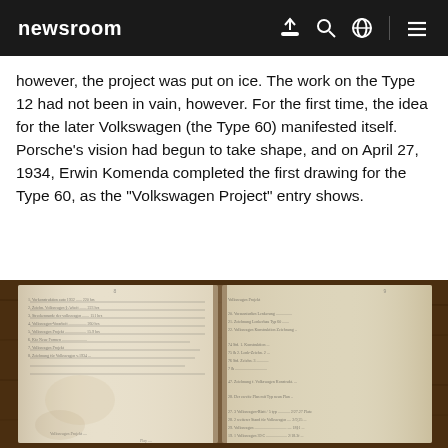newsroom
however, the project was put on ice. The work on the Type 12 had not been in vain, however. For the first time, the idea for the later Volkswagen (the Type 60) manifested itself. Porsche's vision had begun to take shape, and on April 27, 1934, Erwin Komenda completed the first drawing for the Type 60, as the “Volkswagen Project” entry shows.
[Figure (photo): Photograph of an open historical ledger book showing handwritten entries, likely the Volkswagen Project entry from April 27, 1934, placed on a wooden surface.]